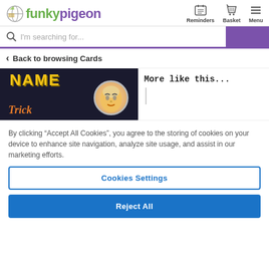funkypigeon - Reminders Basket Menu
I'm searching for...
Back to browsing Cards
[Figure (illustration): Halloween card product image showing 'NAME' in yellow letters and 'Trick' in orange italic text on a dark background, with a child's face in a circular frame]
More like this...
By clicking “Accept All Cookies”, you agree to the storing of cookies on your device to enhance site navigation, analyze site usage, and assist in our marketing efforts.
Cookies Settings
Reject All